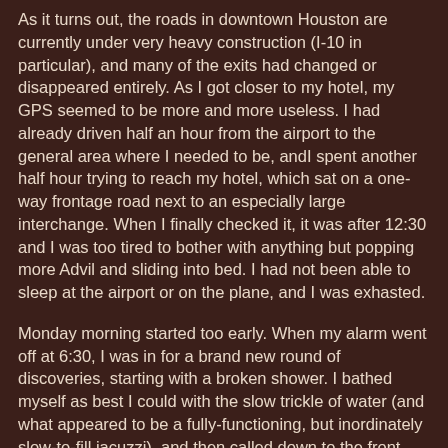As it turns out, the roads in downtown Houston are currently under very heavy construction (I-10 in particular), and many of the exits had changed or disappeared entirely. As I got closer to my hotel, my GPS seemed to be more and more useless. I had already driven half an hour from the airport to the general area where I needed to be, andI spent another half hour trying to reach my hotel, which sat on a one-way frontage road next to an especially large interchange. When I finally checked it, it was after 12:30 and I was too tired to bother with anything but popping more Advil and sliding into bed. I had not been able to sleep at the airport or on the plane, and I was exhasted.
Monday morning started too early. When my alarm went off at 6:30, I was in for a brand new round of discoveries, starting with a broken shower. I bathed myself as best I could with the slow trickle of water (and what appeared to be a fully-functioning, but inordinately slow-to-fill jacuzzi), and then called down to the front desk to complain. They promised to fix it during the day. I prepared my belongings and headed downstairs, hoping that the drive to the training center would not be bad. By the time I reached the lobby, I